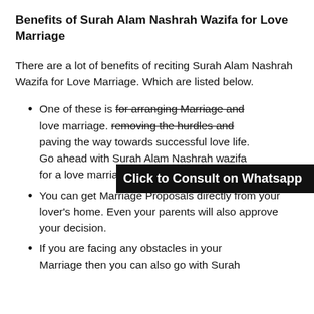Benefits of Surah Alam Nashrah Wazifa for Love Marriage
There are a lot of benefits of reciting Surah Alam Nashrah Wazifa for Love Marriage. Which are listed below.
One of these is for arranging Marriage and love marriage. [Click to Consult on Whatsapp overlay] [partially obscured] paving the way towards successful love life. Go ahead with Surah Alam Nashrah wazifa for a love marriage.
You can get Marriage Proposals directly from your lover's home. Even your parents will also approve your decision.
If you are facing any obstacles in your Marriage then you can also go with Surah